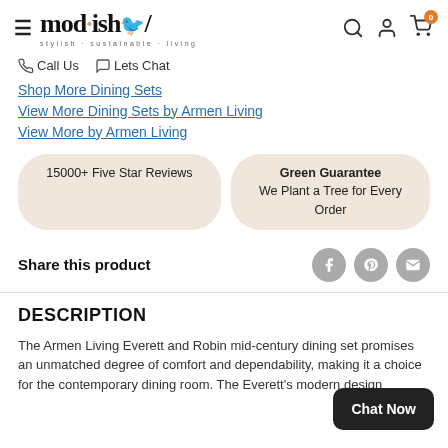mod·ish/ stylish·sustainable·living
☎ Call Us   💬 Lets Chat
Shop More Dining Sets
View More Dining Sets by Armen Living
View More by Armen Living
15000+ Five Star Reviews
Green Guarantee
We Plant a Tree for Every Order
Share this product
DESCRIPTION
The Armen Living Everett and Robin mid-century dining set promises an unmatched degree of comfort and dependability, making it a choice for the contemporary dining room. The Everett's modern design...